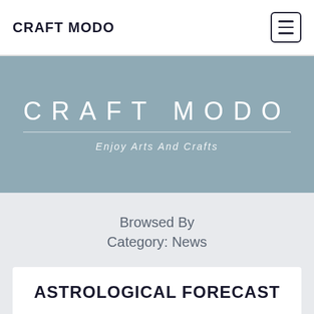CRAFT MODO
[Figure (other): Hamburger menu icon button]
CRAFT MODO
Enjoy Arts And Crafts
Browsed By Category: News
ASTROLOGICAL FORECAST